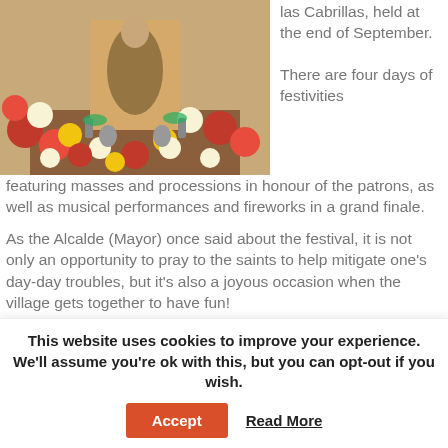[Figure (photo): A religious altar decorated with red carnations, white daisies, and yellow flowers around a saint statue in a church setting.]
las Cabrillas, held at the end of September.

There are four days of festivities featuring masses and processions in honour of the patrons, as well as musical performances and fireworks in a grand finale.
As the Alcalde (Mayor) once said about the festival, it is not only an opportunity to pray to the saints to help mitigate one's day-day troubles, but it's also a joyous occasion when the village gets together to have fun!
This website uses cookies to improve your experience. We'll assume you're ok with this, but you can opt-out if you wish.
Accept
Read More